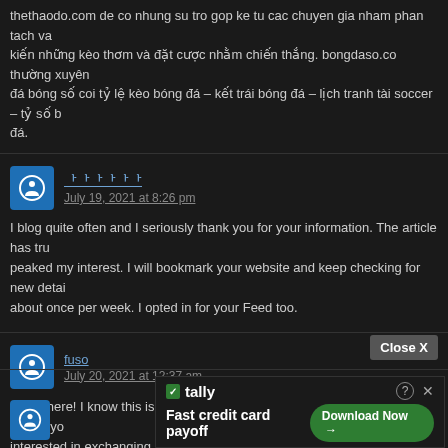thethaodo.com de co nhung su tro gop ke tu cac chuyen gia nham phan tach va kien nhung keo thom va dat cuoc nham chien thang. bongdaso.co thuong xuyen da bong so coi ty le keo bong da – ket trai bong da – lich tranh tai soccer – ty so b da.
username: July 19, 2021 at 8:26 pm
I blog quite often and I seriously thank you for your information. The article has tru peaked my interest. I will bookmark your website and keep checking for new detai about once per week. I opted in for your Feed too.
fuso: July 20, 2021 at 12:37 am
Hello there! I know this is kinda off topic nevertheless I'd figured I'd ask. Would yo interested in exchanging links or maybe guest writing a blog article or vice-versa? site covers a lot of the same subjects as yours and I feel we could greatly benefit f each other. If you might be interested feel free to send me an email. I look forward hearing from you! Fantastic blog by the way!
[Figure (screenshot): Tally advertisement banner: Fast credit card payoff with Download Now button]